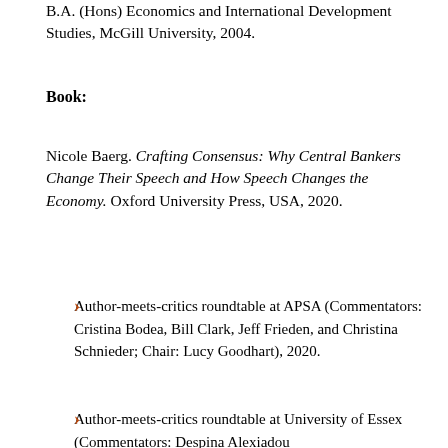B.A. (Hons) Economics and International Development Studies, McGill University, 2004.
Book:
Nicole Baerg. Crafting Consensus: Why Central Bankers Change Their Speech and How Speech Changes the Economy. Oxford University Press, USA, 2020.
Author-meets-critics roundtable at APSA (Commentators: Cristina Bodea, Bill Clark, Jeff Frieden, and Christina Schnieder; Chair: Lucy Goodhart), 2020.
Author-meets-critics roundtable at University of Essex (Commentators: Despina Alexiadou